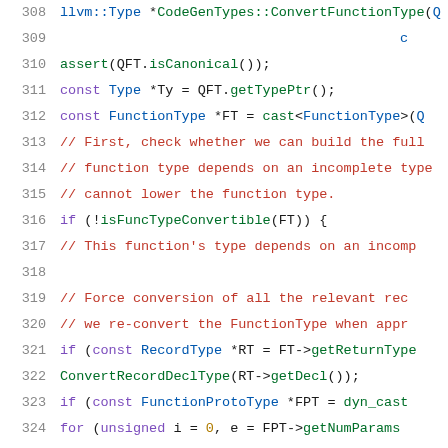[Figure (screenshot): Source code viewer showing C++ code lines 308–329 with syntax highlighting. Line numbers in gray on left, keywords in purple, types in blue, comments in red, function names in green.]